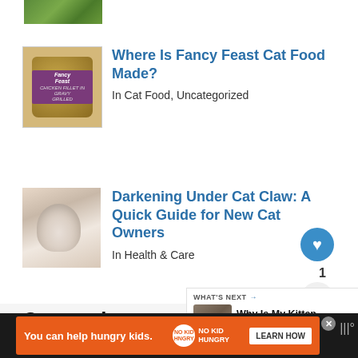[Figure (photo): Cropped top of an image showing green foliage/grass]
[Figure (photo): Fancy Feast cat food can with purple label]
Where Is Fancy Feast Cat Food Made?
In Cat Food, Uncategorized
[Figure (photo): Close-up of a cat claw being examined]
Darkening Under Cat Claw: A Quick Guide for New Cat Owners
In Health & Care
Categories
WHAT'S NEXT → Why Is My Kitten Shaki...
[Figure (photo): Ad banner: You can help hungry kids. No Kid Hungry. LEARN HOW]